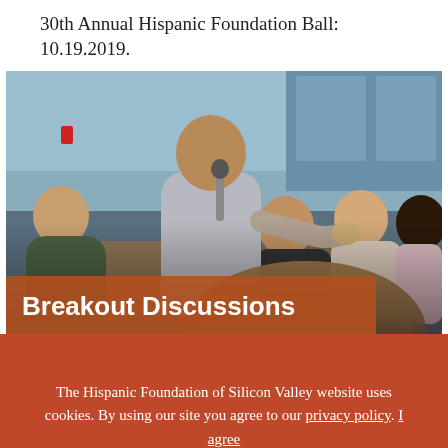30th Annual Hispanic Foundation Ball: 10.19.2019.
[Figure (photo): A man standing and speaking into a microphone at an indoor event, with several audience members seated around him. A semi-transparent brown banner at the bottom reads 'Breakout Discussions'.]
The Hispanic Foundation of Silicon Valley website uses cookies. By using our site you agree to our privacy policy. I agree